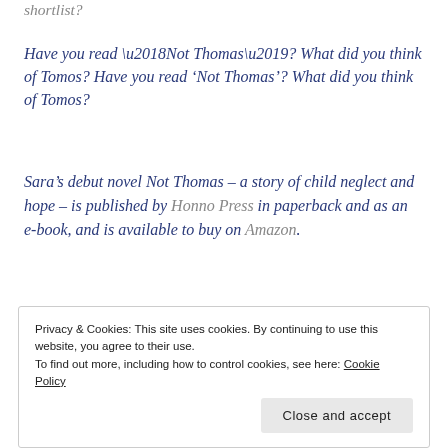shortlist?
Have you read ‘Not Thomas’? What did you think of Tomos?
Sara’s debut novel Not Thomas – a story of child neglect and hope – is published by Honno Press in paperback and as an e-book, and is available to buy on Amazon.
[Figure (photo): Book cover image with large dark text on blue background, partially visible]
Privacy & Cookies: This site uses cookies. By continuing to use this website, you agree to their use. To find out more, including how to control cookies, see here: Cookie Policy
Close and accept